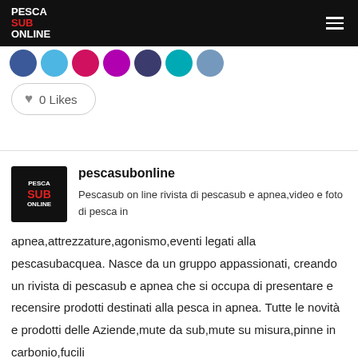PESCA SUB ONLINE
[Figure (illustration): Row of social media share button circles in blue, light blue, red/pink, purple, dark blue, teal, and grey-blue colors]
0 Likes
pescasubonline

Pescasub on line rivista di pescasub e apnea,video e foto di pesca in apnea,attrezzature,agonismo,eventi legati alla pescasubacquea. Nasce da un gruppo appassionati, creando un rivista di pescasub e apnea che si occupa di presentare e recensire prodotti destinati alla pesca in apnea. Tutte le novità e prodotti delle Aziende,mute da sub,mute su misura,pinne in carbonio,fucili